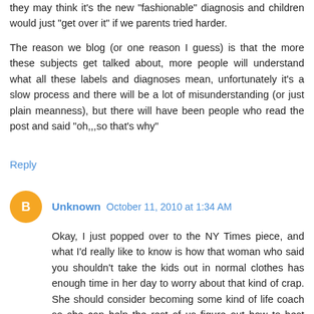they may think it's the new "fashionable" diagnosis and children would just "get over it" if we parents tried harder.

The reason we blog (or one reason I guess) is that the more these subjects get talked about, more people will understand what all these labels and diagnoses mean, unfortunately it's a slow process and there will be a lot of misunderstanding (or just plain meanness), but there will have been people who read the post and said "oh,,,so that's why"
Reply
Unknown  October 11, 2010 at 1:34 AM
Okay, I just popped over to the NY Times piece, and what I'd really like to know is how that woman who said you shouldn't take the kids out in normal clothes has enough time in her day to worry about that kind of crap. She should consider becoming some kind of life coach so she can help the rest of us figure out how to best organize ourselves. . .